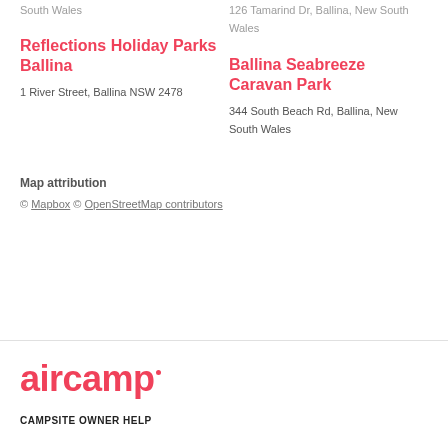South Wales
126 Tamarind Dr, Ballina, New South Wales
Reflections Holiday Parks Ballina
1 River Street, Ballina NSW 2478
Ballina Seabreeze Caravan Park
344 South Beach Rd, Ballina, New South Wales
Map attribution
© Mapbox © OpenStreetMap contributors
[Figure (logo): aircamp logo in pink/red bold text]
CAMPSITE OWNER HELP